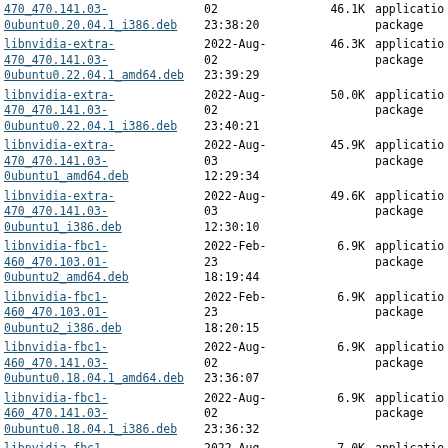| Name | Date | Size | Type |
| --- | --- | --- | --- |
| 470_470.141.03-0ubuntu0.20.04.1_i386.deb | 2022-Aug-02 23:38:20 | 46.1K | application/
package |
| libnvidia-extra-470_470.141.03-0ubuntu0.22.04.1_amd64.deb | 2022-Aug-02 23:39:29 | 46.3K | application/
package |
| libnvidia-extra-470_470.141.03-0ubuntu0.22.04.1_i386.deb | 2022-Aug-02 23:40:21 | 50.0K | application/
package |
| libnvidia-extra-470_470.141.03-0ubuntu1_amd64.deb | 2022-Aug-03 12:29:34 | 45.9K | application/
package |
| libnvidia-extra-470_470.141.03-0ubuntu1_i386.deb | 2022-Aug-03 12:30:10 | 49.6K | application/
package |
| libnvidia-fbc1-460_470.103.01-0ubuntu2_amd64.deb | 2022-Feb-23 18:19:44 | 6.9K | application/
package |
| libnvidia-fbc1-460_470.103.01-0ubuntu2_i386.deb | 2022-Feb-23 18:20:15 | 6.9K | application/
package |
| libnvidia-fbc1-460_470.141.03-0ubuntu0.18.04.1_amd64.deb | 2022-Aug-02 23:36:07 | 6.9K | application/
package |
| libnvidia-fbc1-460_470.141.03-0ubuntu0.18.04.1_i386.deb | 2022-Aug-02 23:36:32 | 6.9K | application/
package |
| libnvidia-fbc1-460_470.141.03-0ubuntu0.20.04.1_amd64.deb | 2022-Aug-02 23:37:59 | 7.0K | application/
package |
| libnvidia-fbc1-460_470.141.03-0ubuntu0.20.04.1_i386.deb | 2022-Aug-02 23:38:19 | 7.0K | application/
package |